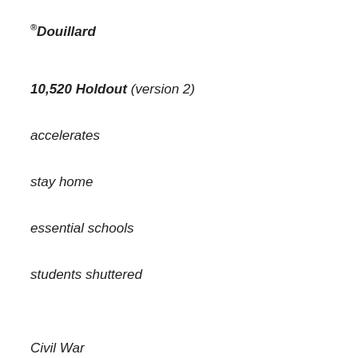®Douillard
10,520 Holdout (version 2)
accelerates
stay home
essential schools
students shuttered
Civil War
walnut trees